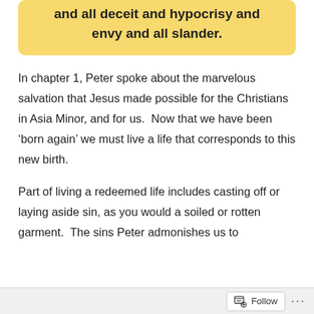and all deceit and hypocrisy and envy and all slander.
In chapter 1, Peter spoke about the marvelous salvation that Jesus made possible for the Christians in Asia Minor, and for us.  Now that we have been ‘born again’ we must live a life that corresponds to this new birth.
Part of living a redeemed life includes casting off or laying aside sin, as you would a soiled or rotten garment.  The sins Peter admonishes us to
Follow